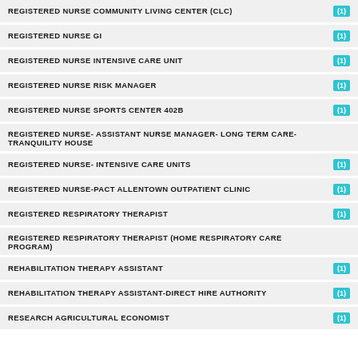REGISTERED NURSE COMMUNITY LIVING CENTER (CLC) (1)
REGISTERED NURSE GI (1)
REGISTERED NURSE INTENSIVE CARE UNIT (1)
REGISTERED NURSE RISK MANAGER (1)
REGISTERED NURSE SPORTS CENTER 402B (1)
REGISTERED NURSE- ASSISTANT NURSE MANAGER- LONG TERM CARE- TRANQUILITY HOUSE
REGISTERED NURSE- INTENSIVE CARE UNITS (1)
REGISTERED NURSE-PACT ALLENTOWN OUTPATIENT CLINIC (1)
REGISTERED RESPIRATORY THERAPIST (1)
REGISTERED RESPIRATORY THERAPIST (HOME RESPIRATORY CARE PROGRAM)
REHABILITATION THERAPY ASSISTANT (1)
REHABILITATION THERAPY ASSISTANT-DIRECT HIRE AUTHORITY (1)
RESEARCH AGRICULTURAL ECONOMIST (1)